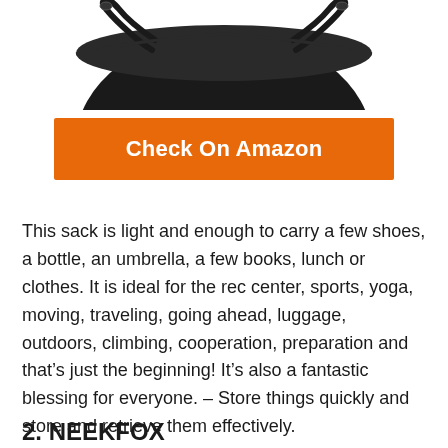[Figure (photo): Partial image of a black drawstring bag/sack, showing the top portion of the bag with drawstring handles, photographed from above on a white background.]
Check On Amazon
This sack is light and enough to carry a few shoes, a bottle, an umbrella, a few books, lunch or clothes. It is ideal for the rec center, sports, yoga, moving, traveling, going ahead, luggage, outdoors, climbing, cooperation, preparation and that’s just the beginning! It’s also a fantastic blessing for everyone. – Store things quickly and store and retrieve them effectively.
2. NEEKFOX